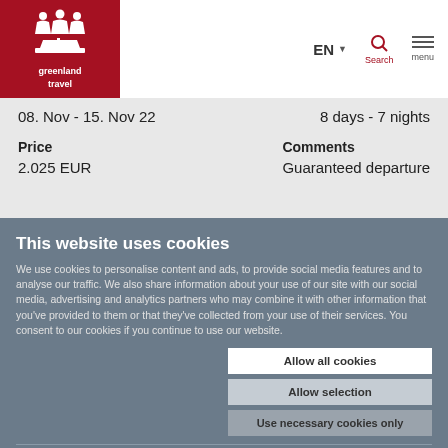greenland travel | EN | Search | menu
08. Nov - 15. Nov 22	8 days - 7 nights
| Price | Comments |
| --- | --- |
| 2.025 EUR | Guaranteed departure |
This website uses cookies
We use cookies to personalise content and ads, to provide social media features and to analyse our traffic. We also share information about your use of our site with our social media, advertising and analytics partners who may combine it with other information that you've provided to them or that they've collected from your use of their services. You consent to our cookies if you continue to use our website.
Allow all cookies
Allow selection
Use necessary cookies only
Necessary   Preferences   Statistics   Marketing   Settings